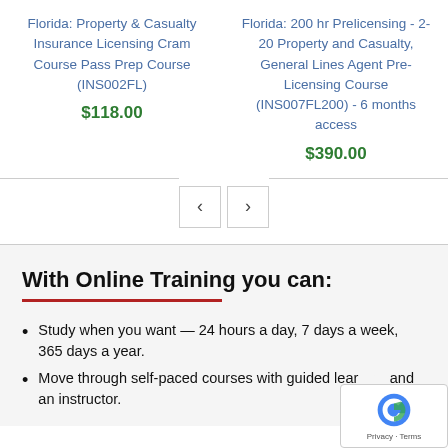Florida: Property & Casualty Insurance Licensing Cram Course Pass Prep Course (INS002FL)
$118.00
Florida: 200 hr Prelicensing - 2-20 Property and Casualty, General Lines Agent Pre-Licensing Course (INS007FL200) - 6 months access
$390.00
With Online Training you can:
Study when you want — 24 hours a day, 7 days a week, 365 days a year.
Move through self-paced courses with guided learning and an instructor.